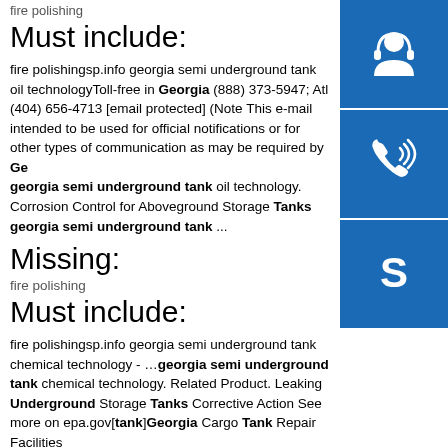fire polishing
Must include:
fire polishingsp.info georgia semi underground tank oil technologyToll-free in Georgia (888) 373-5947; Atl (404) 656-4713 [email protected] (Note This e-mail intended to be used for official notifications or for other types of communication as may be required by Georgia semi underground tank oil technology. Corrosion Control for Aboveground Storage Tanks georgia semi underground tank ...
Missing:
fire polishing
Must include:
fire polishingsp.info georgia semi underground tank chemical technology - ...georgia semi underground tank chemical technology. Related Product. Leaking Underground Storage Tanks Corrective Action See more on epa.gov[tank]Georgia Cargo Tank Repair Facilities
[Figure (infographic): Three blue square icons stacked vertically on the right side: a customer support/headset icon, a phone/call icon, and a Skype logo icon]